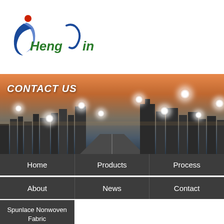[Figure (logo): HengJin company logo with stylized blue swoosh and red dot, italic green text 'Heng Jin']
[Figure (photo): Banner photo of a modern city skyline at sunset with 'CONTACT US' text overlay and glowing dot decorations]
Home
Products
Process
About
News
Contact
Spunlace Nonwoven Fabric
Home »Product
Factory Direct Selling High Quality Pp Non